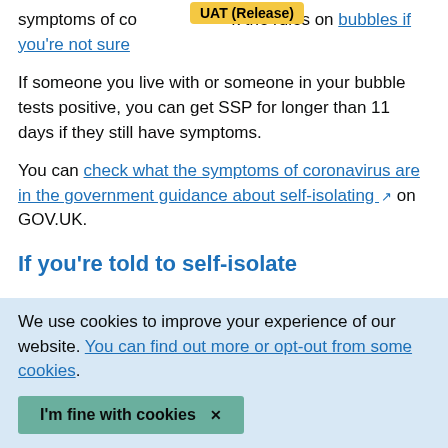symptoms of co... k the rules on bubbles if you're not sure
If someone you live with or someone in your bubble tests positive, you can get SSP for longer than 11 days if they still have symptoms.
You can check what the symptoms of coronavirus are in the government guidance about self-isolating on GOV.UK.
If you're told to self-isolate
We use cookies to improve your experience of our website. You can find out more or opt-out from some cookies.
I'm fine with cookies ✕